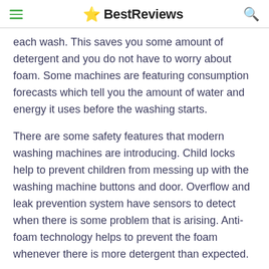BestReviews
each wash. This saves you some amount of detergent and you do not have to worry about foam. Some machines are featuring consumption forecasts which tell you the amount of water and energy it uses before the washing starts.
There are some safety features that modern washing machines are introducing. Child locks help to prevent children from messing up with the washing machine buttons and door. Overflow and leak prevention system have sensors to detect when there is some problem that is arising. Anti-foam technology helps to prevent the foam whenever there is more detergent than expected.
New features in modern washing machines help the